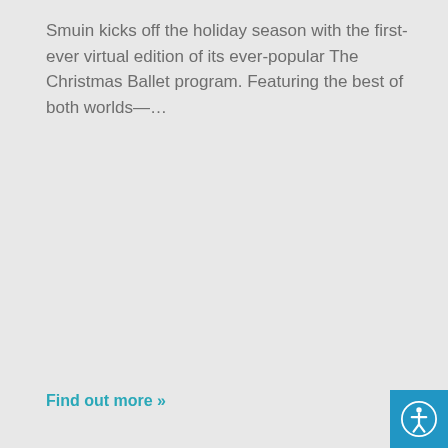Smuin kicks off the holiday season with the first-ever virtual edition of its ever-popular The Christmas Ballet program. Featuring the best of both worlds—…
Find out more »